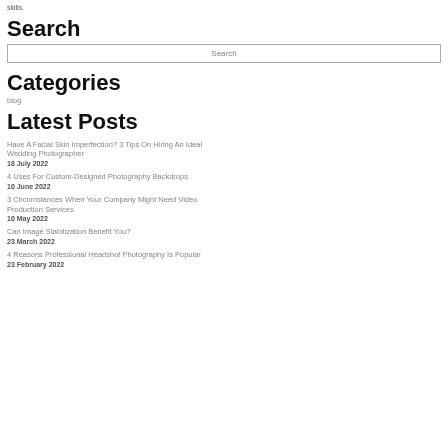skills.
Search
Search
Categories
blog
Latest Posts
Have A Facial Skin Imperfection? 3 Tips On Hiring An Ideal Wedding Photographer
18 July 2022
4 Uses For Custom-Designed Photography Backdrops
10 June 2022
3 Circumstances When Your Company Might Need Video Production Services
10 May 2022
Can Image Stabilization Benefit You?
23 March 2022
4 Reasons Professional Headshot Photography Is Popular
23 February 2022